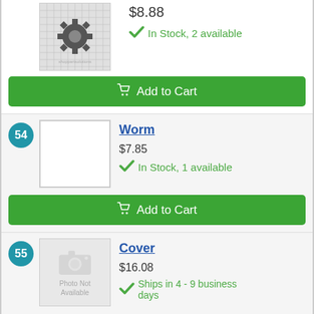[Figure (photo): Product image of a gear/sprocket on grid background]
$8.88
In Stock, 2 available
Add to Cart
54
[Figure (photo): No image available placeholder]
Worm
$7.85
In Stock, 1 available
Add to Cart
55
[Figure (photo): Photo Not Available placeholder image]
Cover
$16.08
Ships in 4 - 9 business days